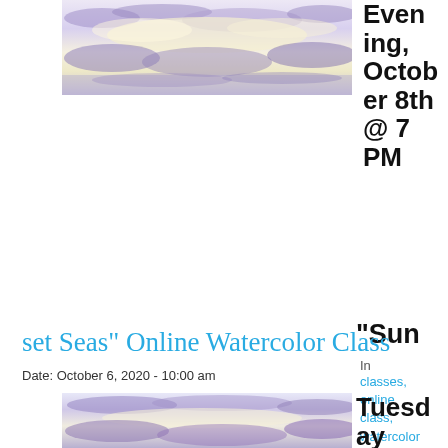[Figure (illustration): Watercolor painting of a sunset sky with purple and yellow clouds over a sea, top image]
"Sunset Seas" Online Watercolor Class
Date: October 6, 2020 - 10:00 am
[Figure (illustration): Watercolor painting of a sunset sky with purple and yellow hues over sea, bottom image]
Evening, October 8th @ 7 PM
In classes, online class, watercolor
Tuesday